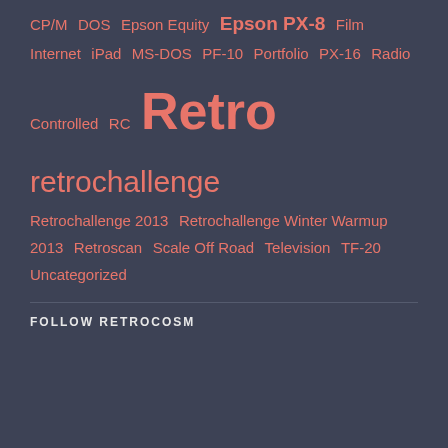CP/M DOS Epson Equity Epson PX-8 Film Internet iPad MS-DOS PF-10 Portfolio PX-16 Radio Controlled RC Retro retrochallenge Retrochallenge 2013 Retrochallenge Winter Warmup 2013 Retroscan Scale Off Road Television TF-20 Uncategorized
FOLLOW RETROCOSM
FOLLOW BLOG VIA EMAIL